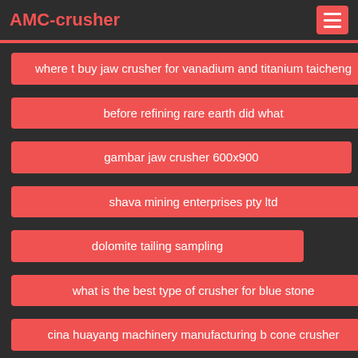AMC-crusher
where t buy jaw crusher for vanadium and titanium taicheng
before refining rare earth did what
gambar jaw crusher 600x900
shava mining enterprises pty ltd
dolomite tailing sampling
what is the best type of crusher for blue stone
cina huayang machinery manufacturing b cone crusher
download mastercam training guide